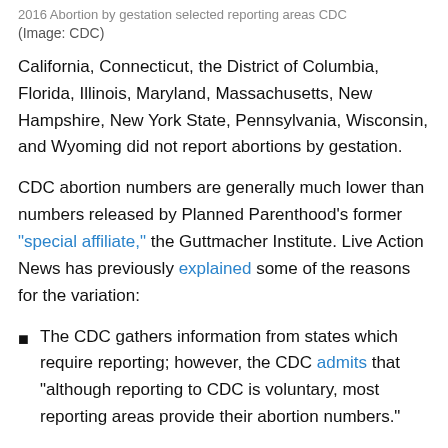2016 Abortion by gestation selected reporting areas CDC
(Image: CDC)
California, Connecticut, the District of Columbia, Florida, Illinois, Maryland, Massachusetts, New Hampshire, New York State, Pennsylvania, Wisconsin, and Wyoming did not report abortions by gestation.
CDC abortion numbers are generally much lower than numbers released by Planned Parenthood’s former “special affiliate,” the Guttmacher Institute. Live Action News has previously explained some of the reasons for the variation:
The CDC gathers information from states which require reporting; however, the CDC admits that “although reporting to CDC is voluntary, most reporting areas provide their abortion numbers.”